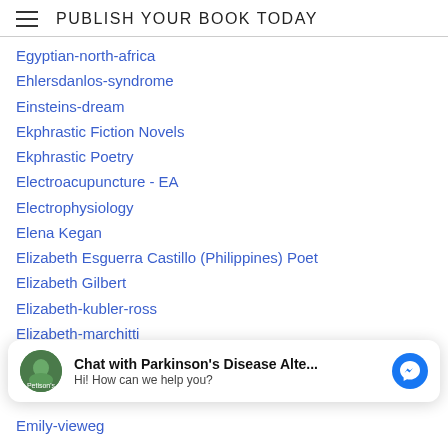PUBLISH YOUR BOOK TODAY
Egyptian-north-africa
Ehlersdanlos-syndrome
Einsteins-dream
Ekphrastic Fiction Novels
Ekphrastic Poetry
Electroacupuncture - EA
Electrophysiology
Elena Kegan
Elizabeth Esguerra Castillo (Philippines) Poet
Elizabeth Gilbert
Elizabeth-kubler-ross
Elizabeth-marchitti
Eliza Segiet (Poland) Poet
Ellen Bass
Chat with Parkinson's Disease Alte... Hi! How can we help you?
Emily-vieweg